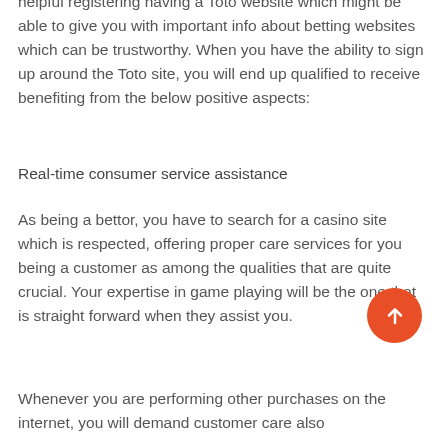On account of that, it may turn out to be quite helpful registering having a Toto website which might be able to give you with important info about betting websites which can be trustworthy. When you have the ability to sign up around the Toto site, you will end up qualified to receive benefiting from the below positive aspects:
Real-time consumer service assistance
As being a bettor, you have to search for a casino site which is respected, offering proper care services for you being a customer as among the qualities that are quite crucial. Your expertise in game playing will be the one that is straight forward when they assist you.
Whenever you are performing other purchases on the internet, you will demand customer care also